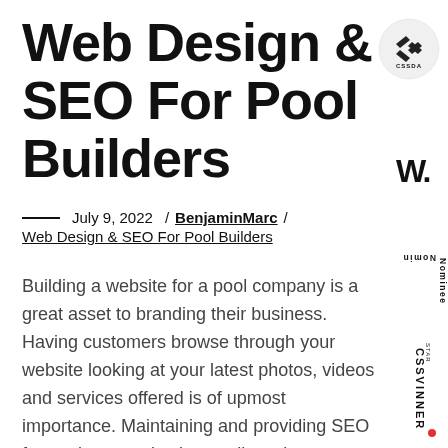Web Design & SEO For Pool Builders
July 9, 2022 / BenjaminMarc / Web Design & SEO For Pool Builders
Building a website for a pool company is a great asset to branding their business. Having customers browse through your website looking at your latest photos, videos and services offered is of upmost importance. Maintaining and providing SEO for pool companies is equally as important. As a web design and ...
[Figure (logo): CSSDA circular badge logo with lightning bolt arrows and CSSDA text]
[Figure (logo): W. bold serif logo mark]
[Figure (logo): CSS Winner Nominee vertical text badge]